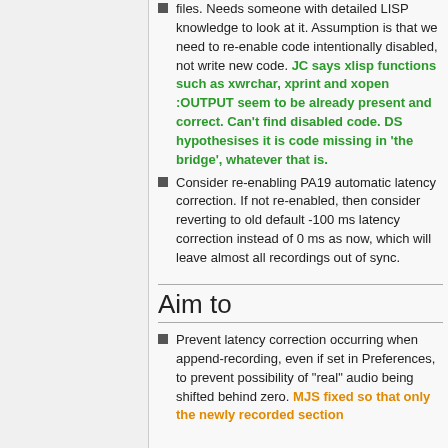files. Needs someone with detailed LISP knowledge to look at it. Assumption is that we need to re-enable code intentionally disabled, not write new code. JC says xlisp functions such as xwrchar, xprint and xopen :OUTPUT seem to be already present and correct. Can't find disabled code. DS hypothesises it is code missing in 'the bridge', whatever that is.
Consider re-enabling PA19 automatic latency correction. If not re-enabled, then consider reverting to old default -100 ms latency correction instead of 0 ms as now, which will leave almost all recordings out of sync.
Aim to
Prevent latency correction occurring when append-recording, even if set in Preferences, to prevent possibility of "real" audio being shifted behind zero. MJS fixed so that only the newly recorded section